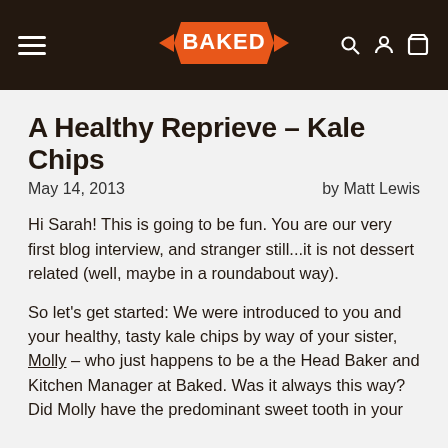BAKED
A Healthy Reprieve - Kale Chips
May 14, 2013    by Matt Lewis
Hi Sarah! This is going to be fun. You are our very first blog interview, and stranger still...it is not dessert related (well, maybe in a roundabout way).
So let's get started: We were introduced to you and your healthy, tasty kale chips by way of your sister, Molly – who just happens to be a the Head Baker and Kitchen Manager at Baked. Was it always this way? Did Molly have the predominant sweet tooth in your